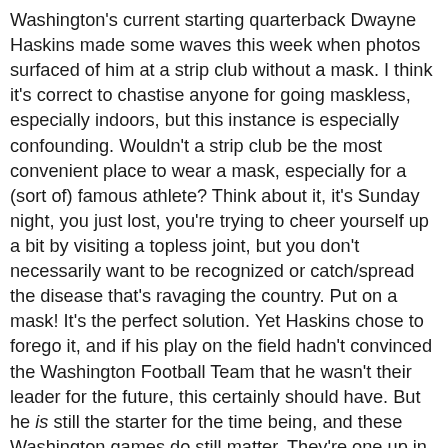Washington's current starting quarterback Dwayne Haskins made some waves this week when photos surfaced of him at a strip club without a mask. I think it's correct to chastise anyone for going maskless, especially indoors, but this instance is especially confounding. Wouldn't a strip club be the most convenient place to wear a mask, especially for a (sort of) famous athlete? Think about it, it's Sunday night, you just lost, you're trying to cheer yourself up a bit by visiting a topless joint, but you don't necessarily want to be recognized or catch/spread the disease that's ravaging the country. Put on a mask! It's the perfect solution. Yet Haskins chose to forego it, and if his play on the field hadn't convinced the Washington Football Team that he wasn't their leader for the future, this certainly should have. But he is still the starter for the time being, and these Washington games do still matter. They're one up in the NFC East, but if they fall back into a tie with the Giants they're out of luck due to the head to head tiebreaker. Hopefully for Washington's sake that strip club Haskins patronized was well-sanitized, otherwise a resulting outbreak could derail their dream season. And by "dream season" I mean one of those really confusing dreams where you wake up and think, "We made